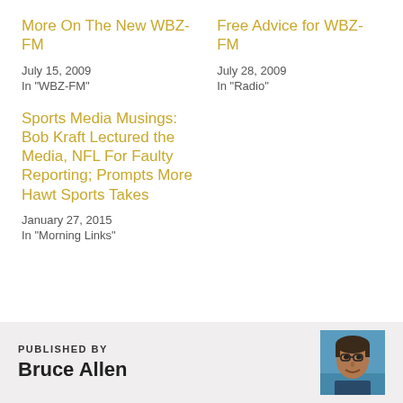More On The New WBZ-FM
July 15, 2009
In "WBZ-FM"
Free Advice for WBZ-FM
July 28, 2009
In "Radio"
Sports Media Musings: Bob Kraft Lectured the Media, NFL For Faulty Reporting; Prompts More Hawt Sports Takes
January 27, 2015
In "Morning Links"
PUBLISHED BY
Bruce Allen